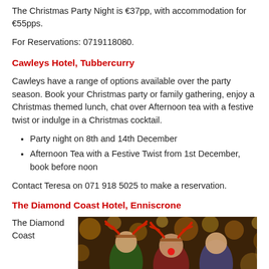The Christmas Party Night is €37pp, with accommodation for €55pps.
For Reservations: 0719118080.
Cawleys Hotel, Tubbercurry
Cawleys have a range of options available over the party season. Book your Christmas party or family gathering, enjoy a Christmas themed lunch, chat over Afternoon tea with a festive twist or indulge in a Christmas cocktail.
Party night on 8th and 14th December
Afternoon Tea with a Festive Twist from 1st December, book before noon
Contact Teresa on 071 918 5025 to make a reservation.
The Diamond Coast Hotel, Enniscrone
The Diamond Coast
[Figure (photo): People wearing Christmas reindeer antlers at a festive party with bokeh lights in the background]